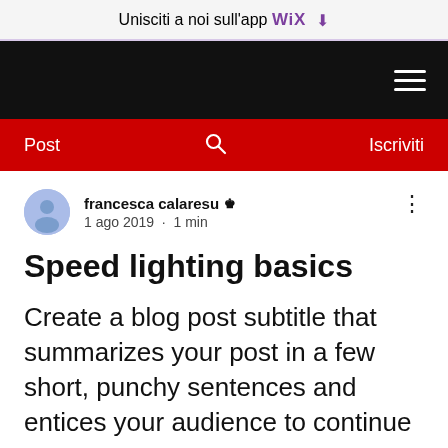Unisciti a noi sull'app WiX ⬇
[Figure (screenshot): Black navigation bar with hamburger menu icon (three white horizontal lines) on the right]
[Figure (screenshot): Red navigation bar with 'Post' on the left, search icon in center, and 'Iscriviti' on the right]
francesca calaresu 👑  1 ago 2019 · 1 min
Speed lighting basics
Create a blog post subtitle that summarizes your post in a few short, punchy sentences and entices your audience to continue